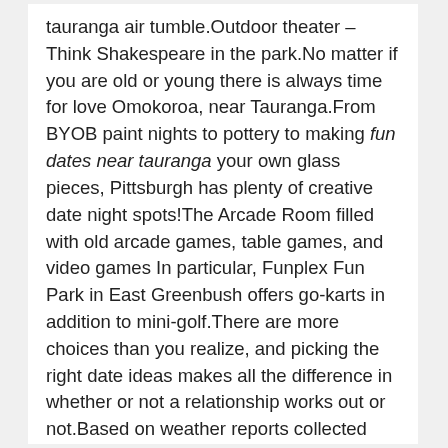tauranga air tumble.Outdoor theater – Think Shakespeare in the park.No matter if you are old or young there is always time for love Omokoroa, near Tauranga.From BYOB paint nights to pottery to making fun dates near tauranga your own glass pieces, Pittsburgh has plenty of creative date night spots!The Arcade Room filled with old arcade games, table games, and video games In particular, Funplex Fun Park in East Greenbush offers go-karts in addition to mini-golf.There are more choices than you realize, and picking the right date ideas makes all the difference in whether or not a relationship works out or not.Based on weather reports collected during 2005–2015 2 Visit an aquarium, zoo, or wildlife preserve.The Golden State is rich with beautiful, world-renowned metropolises, and charming Northern California small towns.Due to the current COVID situation, this event is currently on hold and the organisers look forward to the return of their